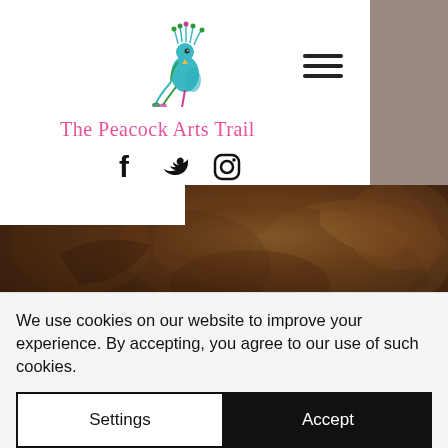[Figure (logo): Peacock Arts Trail logo — colorful illustrated peacock bird]
[Figure (illustration): Hamburger menu icon (three horizontal lines)]
The Peacock Arts Trail
[Figure (illustration): Social media icons: Facebook (f), Twitter (bird), Instagram (camera circle)]
[Figure (photo): Close-up photograph of rocky/earthy surface, brown and tan tones]
Lucy is hoping to get it into galleries and art exhibitions in and around Bath and London. She is also in the
We use cookies on our website to improve your experience. By accepting, you agree to our use of such cookies.